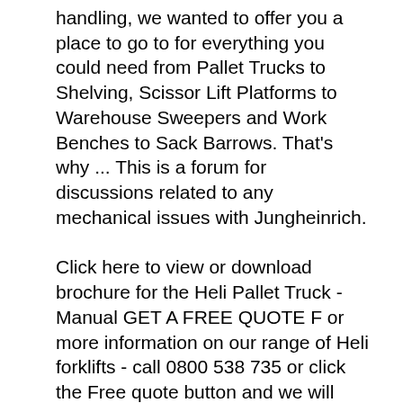handling, we wanted to offer you a place to go to for everything you could need from Pallet Trucks to Shelving, Scissor Lift Platforms to Warehouse Sweepers and Work Benches to Sack Barrows. That's why ... This is a forum for discussions related to any mechanical issues with Jungheinrich.
Click here to view or download brochure for the Heli Pallet Truck - Manual GET A FREE QUOTE F or more information on our range of Heli forklifts - call 0800 538 735 or click the Free quote button and we will contact you as soon as we can. Jungheinrich Forklift Parts and Aftermarket Replacement Parts for Jungheinrich Forklifts. HGM carries a